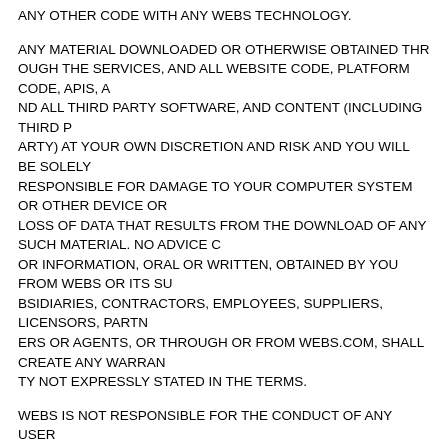ANY OTHER CODE WITH ANY WEBS TECHNOLOGY.
ANY MATERIAL DOWNLOADED OR OTHERWISE OBTAINED THR SERVICES, AND ALL WEBSITE CODE, PLATFORM CODE, APIS, A THIRD PARTY SOFTWARE, AND CONTENT (INCLUDING THIRD P YOUR OWN DISCRETION AND RISK AND YOU WILL BE SOLELY DAMAGE TO YOUR COMPUTER SYSTEM OR OTHER DEVICE OR FROM THE DOWNLOAD OF ANY SUCH MATERIAL. NO ADVICE C ORAL OR WRITTEN, OBTAINED BY YOU FROM WEBS OR ITS SU CONTRACTORS, EMPLOYEES, SUPPLIERS, LICENSORS, PARTN THROUGH OR FROM WEBS.COM, SHALL CREATE ANY WARRAN IN THE TERMS.
WEBS IS NOT RESPONSIBLE FOR THE CONDUCT OF ANY USER ON WEBS.COM, PLATFORM, APPLICATIONS OR WEBSITES.
26. Limitation of Liability
YOU AGREE THAT, UNDER NO LEGAL THEORY, INCLUDING, BUT NEGLIGENCE, SHALL WEBS OR ITS SUCCESSORS, AFFILIATES SUPPLIERS, LICENSORS, PARTNERS OR AGENTS, BE LIABLE T INDIRECT, INCIDENTAL, SPECIAL, CONSEQUENTIAL, OR EXEMP